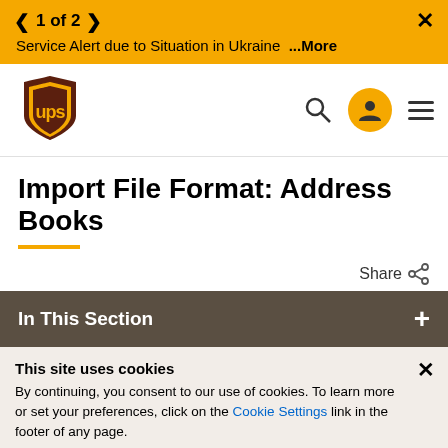< 1 of 2 >  ×  Service Alert due to Situation in Ukraine ...More
[Figure (logo): UPS shield logo in brown and yellow]
Import File Format: Address Books
Share
In This Section
This site uses cookies
By continuing, you consent to our use of cookies. To learn more or set your preferences, click on the Cookie Settings link in the footer of any page.